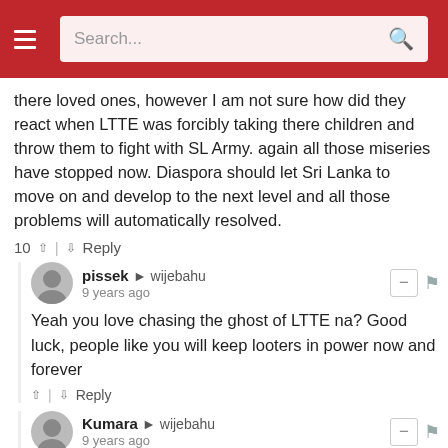Search...
there loved ones, however I am not sure how did they react when LTTE was forcibly taking there children and throw them to fight with SL Army. again all those miseries have stopped now. Diaspora should let Sri Lanka to move on and develop to the next level and all those problems will automatically resolved.
10 ^ | v Reply
pissek → wijebahu
9 years ago
Yeah you love chasing the ghost of LTTE na? Good luck, people like you will keep looters in power now and forever
^ | v Reply
Kumara → wijebahu
9 years ago
It's high time people like Wijebahu has to wake up. It's not the Diaspora which is keeping sri lanka from moving ahead. The corruption and injustice keeping lanka from